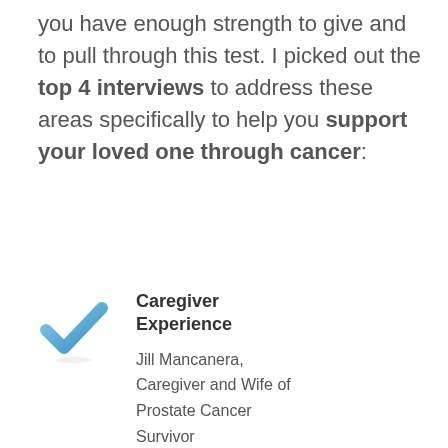you have enough strength to give and to pull through this test. I picked out the top 4 interviews to address these areas specifically to help you support your loved one through cancer:
[Figure (illustration): Blue checkmark icon]
Caregiver Experience
Jill Mancanera, Caregiver and Wife of Prostate Cancer Survivor